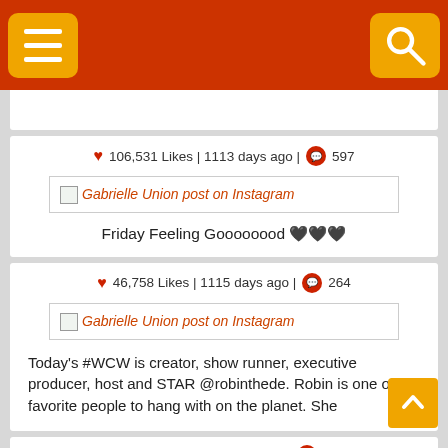[Figure (screenshot): Orange-red navigation bar with hamburger menu button (yellow/orange) on left and search button (yellow/orange) on right]
106,531 Likes | 1113 days ago | 597
[Figure (screenshot): Gabrielle Union post on Instagram image placeholder link]
Friday Feeling Goooooood ♥♥♥
46,758 Likes | 1115 days ago | 264
[Figure (screenshot): Gabrielle Union post on Instagram image placeholder link]
Today's #WCW is creator, show runner, executive producer, host and STAR @robinthede. Robin is one of my favorite people to hang with on the planet. She
324,189 Likes | 1115 days ago | 15,365